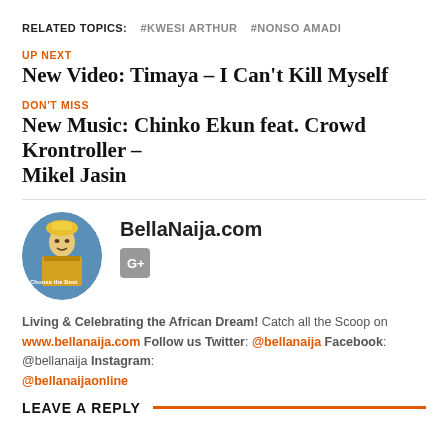RELATED TOPICS: #KWESI ARTHUR  #NONSO AMADI
UP NEXT
New Video: Timaya – I Can't Kill Myself
DON'T MISS
New Music: Chinko Ekun feat. Crowd Krontroller – Mikel Jasin
[Figure (photo): Oval portrait photo of BellaNaija.com author, person in traditional African attire with blue background]
BellaNaija.com
Living & Celebrating the African Dream! Catch all the Scoop on www.bellanaija.com Follow us Twitter: @bellanaija Facebook: @bellanaija Instagram: @bellanaijaonline
LEAVE A REPLY